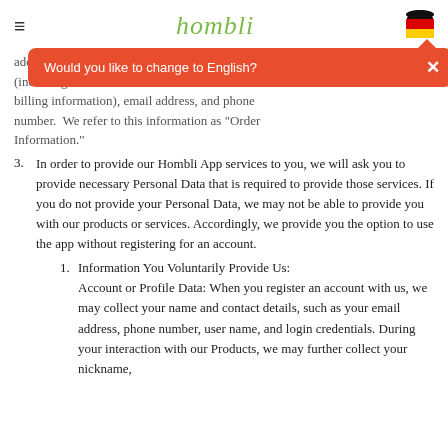hombli
address, shi... (including cr... billing information), email address, and phone number. We refer to this information as "Order Information."
[Figure (screenshot): Orange/red toast notification bar with text 'Would you like to change to English?' and an X close button]
3. In order to provide our Hombli App services to you, we will ask you to provide necessary Personal Data that is required to provide those services. If you do not provide your Personal Data, we may not be able to provide you with our products or services. Accordingly, we provide you the option to use the app without registering for an account.
1. Information You Voluntarily Provide Us: Account or Profile Data: When you register an account with us, we may collect your name and contact details, such as your email address, phone number, user name, and login credentials. During your interaction with our Products, we may further collect your nickname,